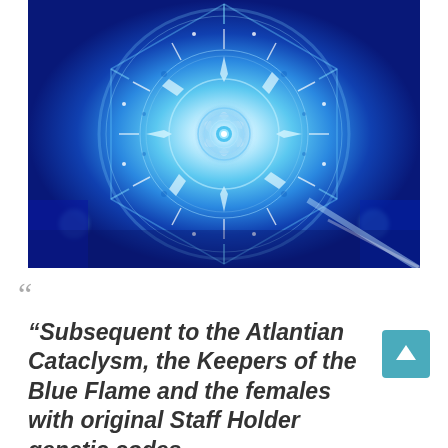[Figure (illustration): A blue mandala / sacred geometry fractal image with radial symmetry. Deep blues, cyans, and whites form intricate snowflake-like patterns radiating from a central point. The image has a luminous, glowing quality with bright white highlights at the center and darker blue tones toward the edges.]
““
“Subsequent to the Atlantian Cataclysm, the Keepers of the Blue Flame and the females with original Staff Holder genetic codes